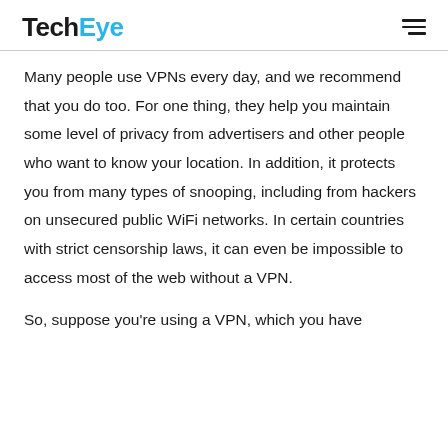TechEye
Many people use VPNs every day, and we recommend that you do too. For one thing, they help you maintain some level of privacy from advertisers and other people who want to know your location. In addition, it protects you from many types of snooping, including from hackers on unsecured public WiFi networks. In certain countries with strict censorship laws, it can even be impossible to access most of the web without a VPN.
So, suppose you're using a VPN, which you have